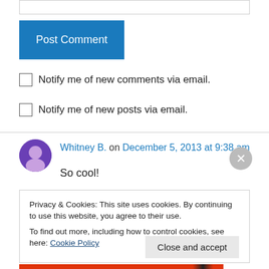[Figure (screenshot): Input text box (comment form field)]
[Figure (screenshot): Blue Post Comment button]
Notify me of new comments via email.
Notify me of new posts via email.
Whitney B. on December 5, 2013 at 9:38 am
So cool!
Privacy & Cookies: This site uses cookies. By continuing to use this website, you agree to their use.
To find out more, including how to control cookies, see here: Cookie Policy
Close and accept